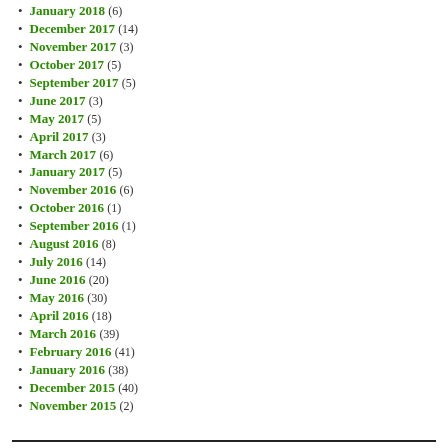January 2018 (6)
December 2017 (14)
November 2017 (3)
October 2017 (5)
September 2017 (5)
June 2017 (3)
May 2017 (5)
April 2017 (3)
March 2017 (6)
January 2017 (5)
November 2016 (6)
October 2016 (1)
September 2016 (1)
August 2016 (8)
July 2016 (14)
June 2016 (20)
May 2016 (30)
April 2016 (18)
March 2016 (39)
February 2016 (41)
January 2016 (38)
December 2015 (40)
November 2015 (2)